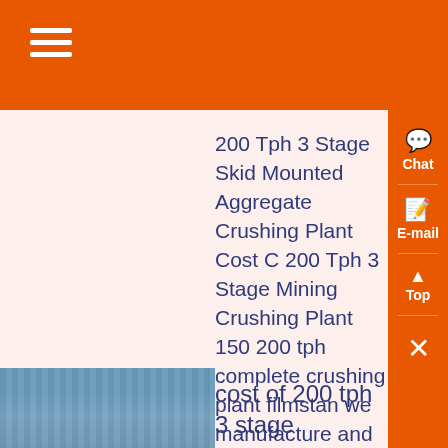Navigation menu header bar
200 Tph 3 Stage Skid Mounted Aggregate Crushing Plant Cost C 200 Tph 3 Stage Mining Crushing Plant 150 200 tph complete crushing plant filmstan we manufacture and supply a wide range of 200 tph stone crushing plantthe crusher plant is widely used in stone mining metallurgy industry building material highway railway and chemical industry for the purpose of crushing and mini ston you...
[Figure (photo): Industrial crushing plant equipment photo at bottom left]
cost of 200 tph 3 stage